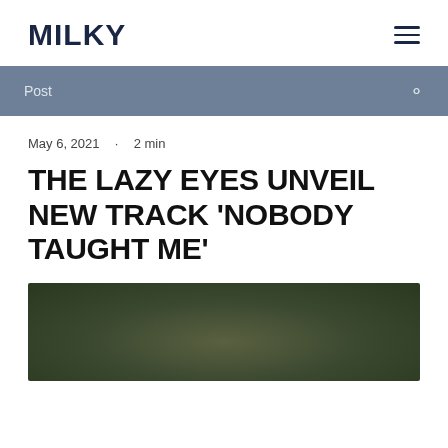MILKY
Post
May 6, 2021 · 2 min
THE LAZY EYES UNVEIL NEW TRACK 'NOBODY TAUGHT ME'
[Figure (photo): A blurred/dark outdoor photograph, partially visible at bottom of page]